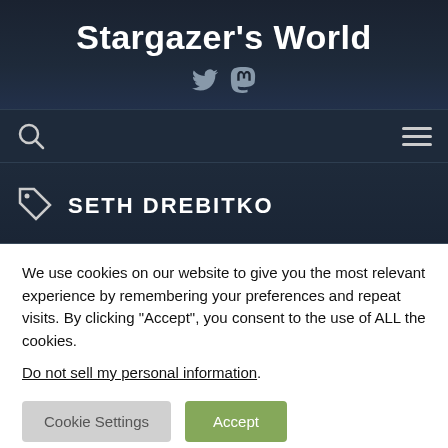Stargazer's World
[Figure (illustration): Social media icons: Twitter bird icon and Mastodon icon in grey]
[Figure (illustration): Navigation bar with search icon (magnifying glass) on the left and hamburger menu icon on the right]
SETH DREBITKO
We use cookies on our website to give you the most relevant experience by remembering your preferences and repeat visits. By clicking “Accept”, you consent to the use of ALL the cookies.
Do not sell my personal information.
Cookie Settings
Accept